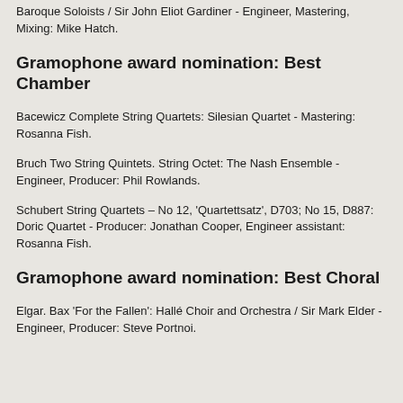Baroque Soloists / Sir John Eliot Gardiner - Engineer, Mastering, Mixing: Mike Hatch.
Gramophone award nomination: Best Chamber
Bacewicz Complete String Quartets: Silesian Quartet - Mastering: Rosanna Fish.
Bruch Two String Quintets. String Octet: The Nash Ensemble - Engineer, Producer: Phil Rowlands.
Schubert String Quartets – No 12, 'Quartettsatz', D703; No 15, D887: Doric Quartet - Producer: Jonathan Cooper, Engineer assistant: Rosanna Fish.
Gramophone award nomination: Best Choral
Elgar. Bax 'For the Fallen': Hallé Choir and Orchestra / Sir Mark Elder - Engineer, Producer: Steve Portnoi.